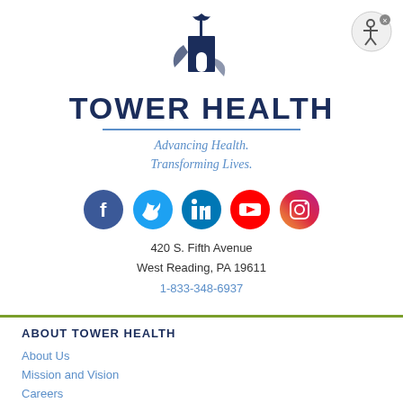[Figure (logo): Tower Health logo with dark navy building/tower icon above the text TOWER HEALTH]
TOWER HEALTH
Advancing Health.
Transforming Lives.
[Figure (other): Social media icons row: Facebook, Twitter, LinkedIn, YouTube, Instagram]
420 S. Fifth Avenue
West Reading, PA 19611
1-833-348-6937
ABOUT TOWER HEALTH
About Us
Mission and Vision
Careers
Patient Safety